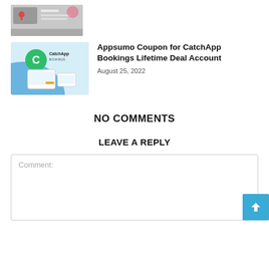[Figure (photo): Partial thumbnail image of an article (cropped at top of page)]
[Figure (photo): CatchApp Bookings promotional image with logo and device mockups on blue background]
Appsumo Coupon for CatchApp Bookings Lifetime Deal Account
August 25, 2022
NO COMMENTS
LEAVE A REPLY
Comment: